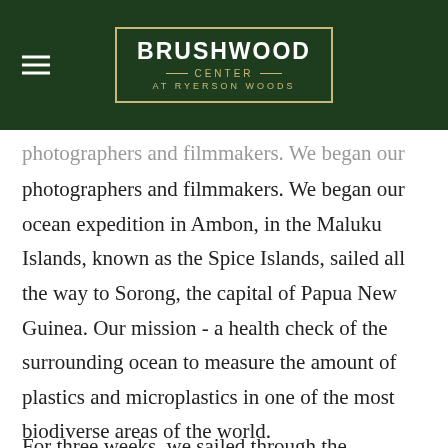Brushwood Center at Ryerson Woods
photographers and filmmakers. We began our ocean expedition in Ambon, in the Maluku Islands, known as the Spice Islands, sailed all the way to Sorong, the capital of Papua New Guinea. Our mission - a health check of the surrounding ocean to measure the amount of plastics and microplastics in one of the most biodiverse areas of the world.
For three weeks, we sailed through the archipelago of islands, trawling for plastics. This image was inspired by one of the underwater photographs I took off a sea wall at the island of Misool, one of the four major islands in